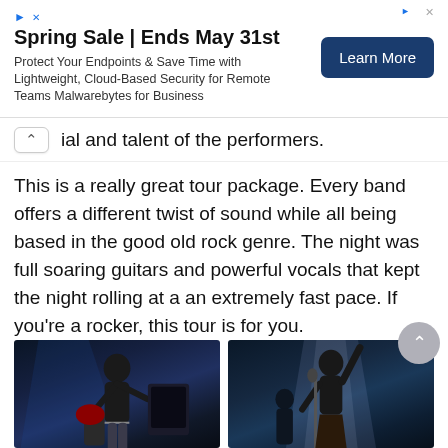[Figure (other): Advertisement banner: Spring Sale | Ends May 31st - Protect Your Endpoints & Save Time with Lightweight, Cloud-Based Security for Remote Teams Malwarebytes for Business, with a Learn More button]
ial and talent of the performers.
This is a really great tour package. Every band offers a different twist of sound while all being based in the good old rock genre. The night was full soaring guitars and powerful vocals that kept the night rolling at a an extremely fast pace. If you're a rocker, this tour is for you.
[Figure (photo): Concert photo of a guitarist performing on stage with blue stage lighting]
[Figure (photo): Concert photo of a female vocalist performing on stage with blue and white stage lighting, arm raised pointing upward]